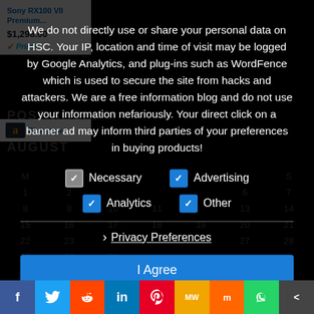[Figure (screenshot): Amazon product listing card showing Sony RX100 VII Premium with price $1,298.00 and Prime badge]
We do not directly use or share your personal data on HSC. Your IP, location and time of visit may be logged by Google Analytics, and plug-ins such as WordFence which is used to secure the site from hacks and attackers. We are a free information blog and do not use your information nefariously. Your direct click on a banner ad may inform third parties of your preferences in buying products!
Necessary
Advertising
Analytics
Other
Privacy Preferences
I Agree